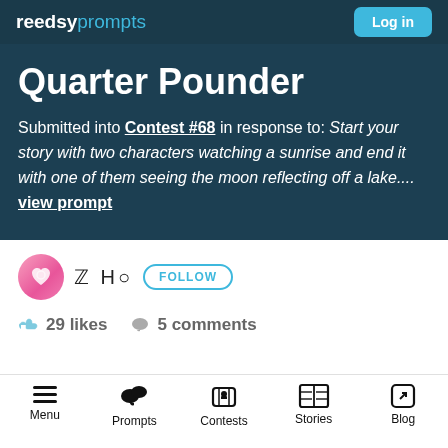reedsy prompts — Log in
Quarter Pounder
Submitted into Contest #68 in response to: Start your story with two characters watching a sunrise and end it with one of them seeing the moon reflecting off a lake.... view prompt
[Figure (illustration): Pink circular avatar with heart icon]
Z H♡  FOLLOW
👍 29 likes  💬 5 comments
Menu   Prompts   Contests   Stories   Blog